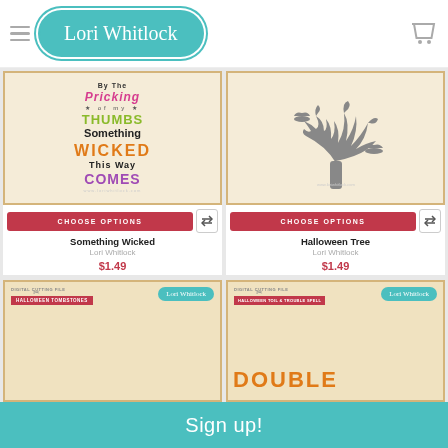Lori Whitlock
[Figure (illustration): Halloween text art: 'By the Pricking of my Thumbs Something Wicked This Way Comes' in stylized multi-color typography on tan card background]
[Figure (illustration): Halloween Tree SVG illustration: gray stylized bare tree with curling branches and bats on tan card background]
CHOOSE OPTIONS
CHOOSE OPTIONS
Something Wicked
Lori Whitlock
$1.49
Halloween Tree
Lori Whitlock
$1.49
[Figure (photo): Partial Halloween Tombstones digital cutting file product package on tan background]
[Figure (photo): Partial Halloween Toil & Trouble Spell digital cutting file product package showing 'DOUBLE' text]
Sign up!